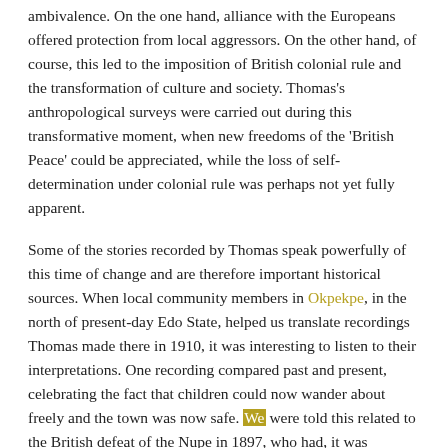ambivalence. On the one hand, alliance with the Europeans offered protection from local aggressors. On the other hand, of course, this led to the imposition of British colonial rule and the transformation of culture and society. Thomas's anthropological surveys were carried out during this transformative moment, when new freedoms of the 'British Peace' could be appreciated, while the loss of self-determination under colonial rule was perhaps not yet fully apparent.
Some of the stories recorded by Thomas speak powerfully of this time of change and are therefore important historical sources. When local community members in Okpekpe, in the north of present-day Edo State, helped us translate recordings Thomas made there in 1910, it was interesting to listen to their interpretations. One recording compared past and present, celebrating the fact that children could now wander about freely and the town was now safe. We were told this related to the British defeat of the Nupe in 1897, who had, it was explained, on the one hand, brought